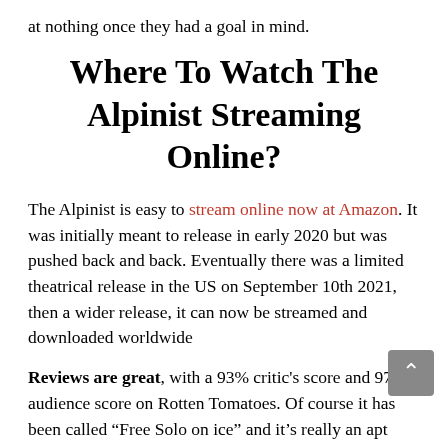at nothing once they had a goal in mind.
Where To Watch The Alpinist Streaming Online?
The Alpinist is easy to stream online now at Amazon. It was initially meant to release in early 2020 but was pushed back and back. Eventually there was a limited theatrical release in the US on September 10th 2021, then a wider release, it can now be streamed and downloaded worldwide
Reviews are great, with a 93% critic's score and 97% audience score on Rotten Tomatoes. Of course it has been called “Free Solo on ice” and it’s really an apt comparison. Alex Honnold features pretty heavily as a talking head, comparing notes and genuinely being